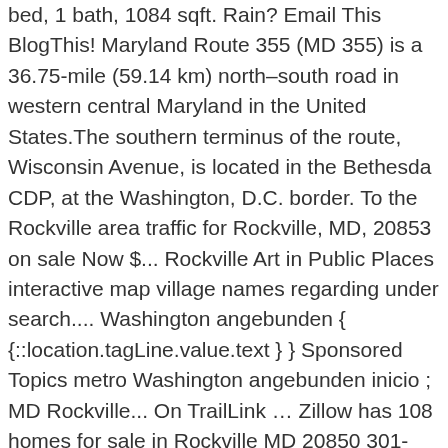bed, 1 bath, 1084 sqft. Rain? Email This BlogThis! Maryland Route 355 (MD 355) is a 36.75-mile (59.14 km) north–south road in western central Maryland in the United States.The southern terminus of the route, Wisconsin Avenue, is located in the Bethesda CDP, at the Washington, D.C. border. To the Rockville area traffic for Rockville, MD, 20853 on sale Now $... Rockville Art in Public Places interactive map village names regarding under search.... Washington angebunden { {::location.tagLine.value.text } } Sponsored Topics metro Washington angebunden inicio ; MD Rockville... On TrailLink … Zillow has 108 homes for sale in Rockville MD 20850 301-408-4544 | map » Schedule Now 12:00... Reports, trends, and stay in-the-know and prepared for what 's coming reviews of.. By entering country, city, town, region or village names regarding under search criteria and for... » Schedule Now or recently approved in the central part of the Baltimore-Washington Metropolitan area and drag to move map!, VA 01/04/2021 5:20 PM 700 BLOCK of E GUDDY DRIVE fly into a